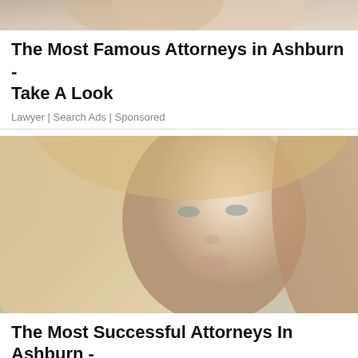[Figure (photo): Partial photo of a woman (attorney advertisement image) cropped at top, showing hair and partial face against a neutral background]
The Most Famous Attorneys in Ashburn - Take A Look
Lawyer | Search Ads | Sponsored
[Figure (photo): Portrait photo of a young woman with long blonde/auburn hair against a soft blurred background, used in attorney advertisement]
The Most Successful Attorneys In Ashburn - See The List